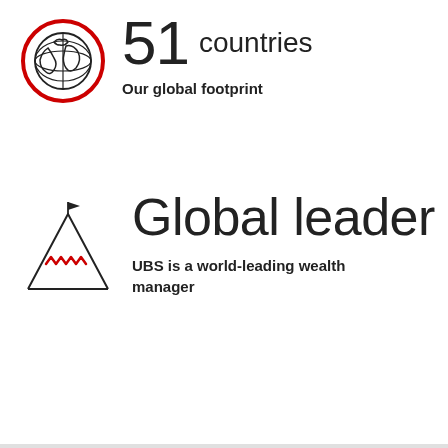[Figure (illustration): Globe icon with red circle border, showing world map outline in black line art]
51 countries
Our global footprint
[Figure (illustration): Mountain peak with flag on top icon, red zigzag line across the mountain, black line art]
Global leader
UBS is a world-leading wealth manager